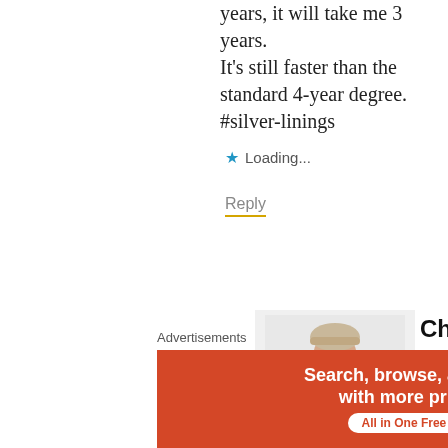years, it will take me 3 years. It's still faster than the standard 4-year degree. #silver-linings
★ Loading...
Reply
[Figure (photo): Profile photo of user Cherryl, a person in a black turtleneck sweater posing with hand near face]
Cherryl
18,
12019000Europe
15 Jul 2019
17:30:05
Advertisements
[Figure (screenshot): DuckDuckGo advertisement banner: 'Search, browse, and email with more privacy. All in One Free App' with DuckDuckGo logo on dark background]